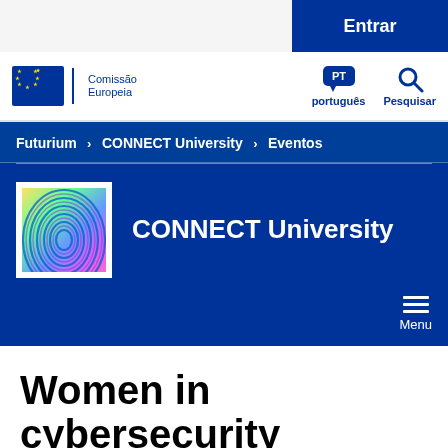Entrar
[Figure (logo): European Commission logo with EU flag stars and text 'Comissão Europeia']
português  Pesquisar
Futurium > CONNECT University > Eventos
CONNECT University
Women in cybersecurity
Traduzir esta página 🌐